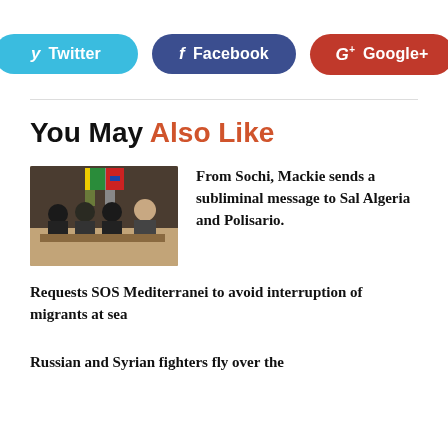[Figure (infographic): Social share buttons: Twitter (blue), Facebook (dark blue), Google+ (red)]
You May Also Like
[Figure (photo): Group of people seated in a formal meeting room, flags in background]
From Sochi, Mackie sends a subliminal message to Sal Algeria and Polisario.
Requests SOS Mediterranei to avoid interruption of migrants at sea
Russian and Syrian fighters fly over the